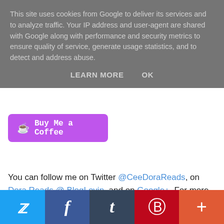This site uses cookies from Google to deliver its services and to analyze traffic. Your IP address and user-agent are shared with Google along with performance and security metrics to ensure quality of service, generate usage statistics, and to detect and address abuse.
LEARN MORE   OK
[Figure (other): Purple 'Buy Me a Coffee' button with coffee cup icon]
You can follow me on Twitter @CeeDoraReads, on Dora Reads @ BlogLovin, and on Google+. For more ways to support me, check out the Support Me page
[Figure (other): Social media share bar with Twitter, Facebook, Tumblr, Pinterest, and More icons]